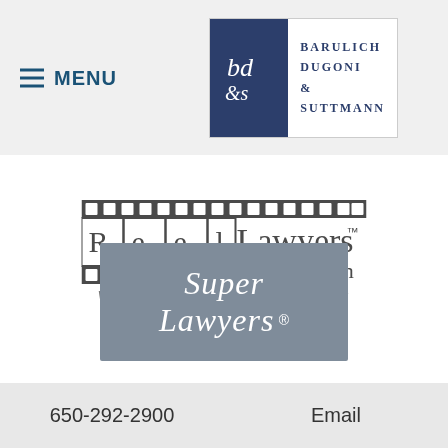[Figure (logo): Menu navigation icon with hamburger lines and MENU text in dark teal/navy color]
[Figure (logo): Barulich Dugoni & Suttmann law firm logo with bd&s monogram in dark navy square and firm name text in navy]
[Figure (logo): ReelLawyers.com logo with film strip design and tagline 'Where America's Lawyers Talk Law']
[Figure (logo): Super Lawyers badge with white italic text on gray/slate background]
650-292-2900
Email